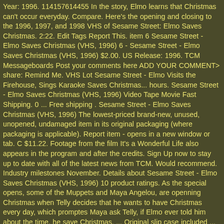Year: 1996. 114157614455 In the story, Elmo learns that Christmas can't occur everyday. Compare. Here's the opening and closing to the 1996, 1997, and 1998 VHS of Sesame Street: Elmo Saves Christmas. 2:22. Edit Tags Report This. item 6 Sesame Street - Elmo Saves Christmas (VHS, 1996) 6 - Sesame Street - Elmo Saves Christmas (VHS, 1996) $2.00. US Release: 1996. TCM Messageboards Post your comments here ADD YOUR COMMENT> share: Remind Me. VHS Lot Sesame Street - Elmo Visits the Firehouse, Sings Karaoke Saves Christmas... hours. Sesame Street - Elmo Saves Christmas (VHS, 1996) Video Tape Movie Fast Shipping. 0 ... Free shipping . Sesame Street - Elmo Saves Christmas (VHS, 1996) The lowest-priced brand-new, unused, unopened, undamaged item in its original packaging (where packaging is applicable). Report item - opens in a new window or tab. C $11.22. Footage from the film It's a Wonderful Life also appears in the program and after the credits. Sign Up now to stay up to date with all of the latest news from TCM. Would recommend. Industry milestones November. Details about Sesame Street - Elmo Saves Christmas (VHS, 1996) 10 product ratings. As the special opens, some of the Muppets and Maya Angelou, are openning Christmas when Telly decides that he wants to have Christmas every day, which promptes Maya ask Telly, if Elmo ever told him about the time, he save Christmas, ... Original slip case included ... More × Condition: Very Good. Franchise: Sesame Street Genre: Children. (10) 10 product ratings. CTW - SESAME STREET — ELMO